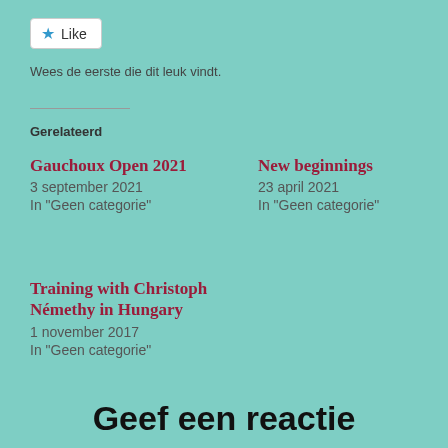[Figure (other): Like button widget with blue star icon and 'Like' text in a white rounded rectangle button]
Wees de eerste die dit leuk vindt.
Gerelateerd
Gauchoux Open 2021
3 september 2021
In "Geen categorie"
New beginnings
23 april 2021
In "Geen categorie"
Training with Christoph Némethy in Hungary
1 november 2017
In "Geen categorie"
Geef een reactie